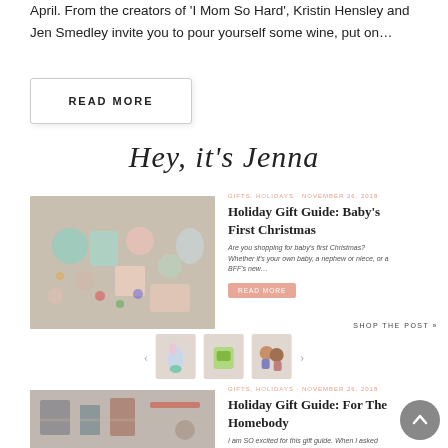April. From the creators of 'I Mom So Hard', Kristin Hensley and Jen Smedley invite you to pour yourself some wine, put on…
READ MORE
[Figure (illustration): Cursive script signature reading 'Hey, it's Jenna']
[Figure (photo): Holiday gift items for baby's first Christmas including toys, ornaments, and products arranged on a white fur background]
GIFTS, HOLIDAYS · NOVEMBER 26, 2018
Holiday Gift Guide: Baby's First Christmas
Are you shopping for baby's first Christmas? Whether it's your own baby, a nephew or niece, or a BFF's new…
READ MORE
SHOP THE POST »
[Figure (photo): Three small product thumbnail images showing holiday gift items including a mermaid toy, a green product, and dolls]
[Figure (photo): Holiday gift items for the homebody including beauty and lifestyle products on a white fur background with ribbon]
GIFTS, HOLIDAYS · NOVEMBER 26, 2018
Holiday Gift Guide: For The Homebody
I am SO excited for this gift guide. When I asked